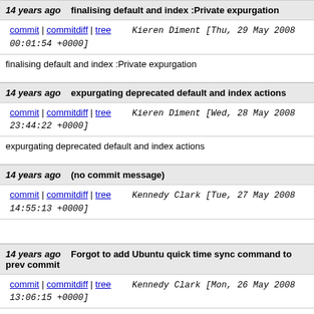14 years ago finalising default and index :Private expurgation
commit | commitdiff | tree   Kieren Diment [Thu, 29 May 2008 00:01:54 +0000]
finalising default and index :Private expurgation
14 years ago expurgating deprecated default and index actions
commit | commitdiff | tree   Kieren Diment [Wed, 28 May 2008 23:44:22 +0000]
expurgating deprecated default and index actions
14 years ago (no commit message)
commit | commitdiff | tree   Kennedy Clark [Tue, 27 May 2008 14:55:13 +0000]
14 years ago Forgot to add Ubuntu quick time sync command to prev commit
commit | commitdiff | tree   Kennedy Clark [Mon, 26 May 2008 13:06:15 +0000]
Forgot to add Ubuntu quick time sync command to...